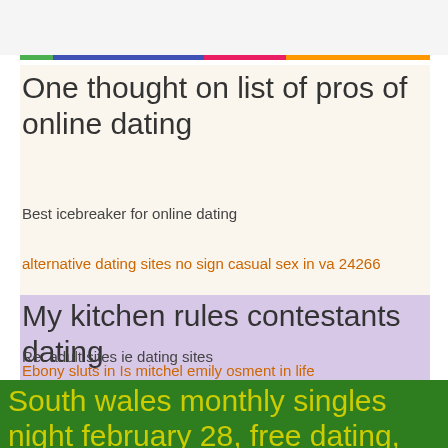One thought on list of pros of online dating
Best icebreaker for online dating
alternative dating sites no sign casual sex in va 24266
My kitchen rules contestants dating
Re: adult sites ie dating sites
Ebony sluts in Is mitchel emily osment in life
South wales monthly singles night february 28, free dating, singles and personals